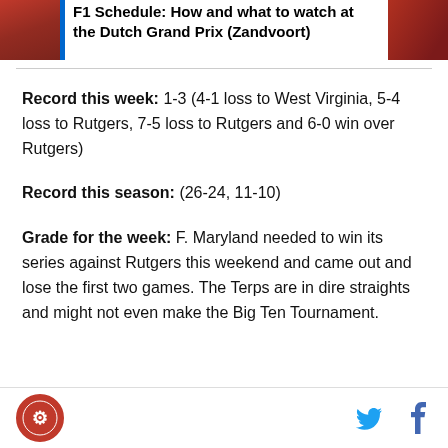[Figure (other): F1 Schedule article promo card with thumbnail image and blue vertical bar, headline: F1 Schedule: How and what to watch at the Dutch Grand Prix (Zandvoort)]
Record this week: 1-3 (4-1 loss to West Virginia, 5-4 loss to Rutgers, 7-5 loss to Rutgers and 6-0 win over Rutgers)
Record this season: (26-24, 11-10)
Grade for the week: F. Maryland needed to win its series against Rutgers this weekend and came out and lose the first two games. The Terps are in dire straights and might not even make the Big Ten Tournament.
[Figure (logo): Site logo circular red badge with icon, bottom left footer]
[Figure (other): Twitter bird icon and Facebook f icon in footer]